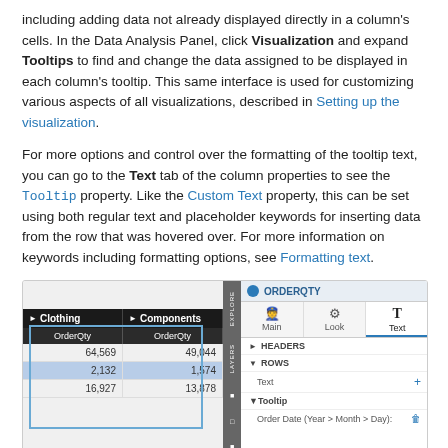including adding data not already displayed directly in a column's cells. In the Data Analysis Panel, click Visualization and expand Tooltips to find and change the data assigned to be displayed in each column's tooltip. This same interface is used for customizing various aspects of all visualizations, described in Setting up the visualization.
For more options and control over the formatting of the tooltip text, you can go to the Text tab of the column properties to see the Tooltip property. Like the Custom Text property, this can be set using both regular text and placeholder keywords for inserting data from the row that was hovered over. For more information on keywords including formatting options, see Formatting text.
[Figure (screenshot): Screenshot showing a data table on the left with columns Clothing and Components each showing OrderQty values (64,569 / 49,044 and 2,132 / 1,574 highlighted in blue, and 16,927 / 13,878), with a blue selection border. On the right is a properties panel showing ORDERQTY with Main/Look/Text tabs, HEADERS and ROWS sections with Text item, a + button, and a Tooltip section with Order Date (Year > Month > Day) field and a trash icon.]